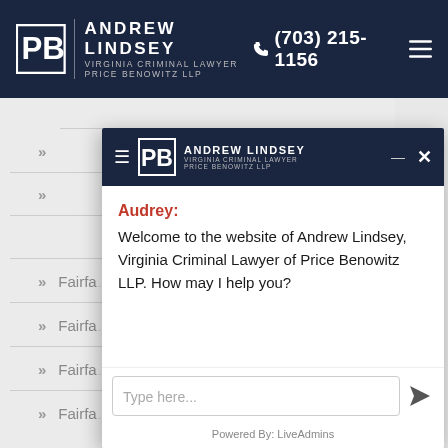Andrew Lindsey Virginia Criminal Lawyer Price Benowitz LLP | (703) 215-1156
[Figure (screenshot): Background website navigation with chevron list items showing 'Fairfa...' truncated menu items partially obscured by chat overlay]
[Figure (screenshot): Live chat overlay widget with header showing Andrew Lindsey Virginia Criminal Lawyer Price Benowitz LLP logo, hamburger menu, close button. Chat body shows Audrey: Welcome to the website of Andrew Lindsey, Virginia Criminal Lawyer of Price Benowitz LLP. How may I help you? Input field with 'Type here...' placeholder and send button. Footer: Powered By: LiveAdmins]